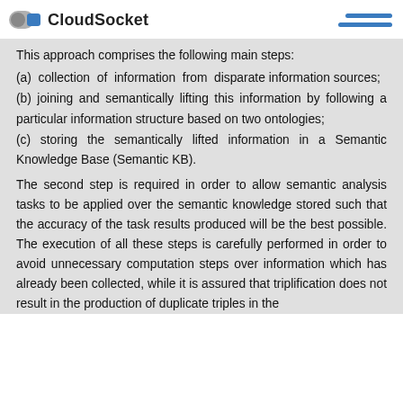CloudSocket
This approach comprises the following main steps:
(a) collection of information from disparate information sources;
(b) joining and semantically lifting this information by following a particular information structure based on two ontologies;
(c) storing the semantically lifted information in a Semantic Knowledge Base (Semantic KB).
The second step is required in order to allow semantic analysis tasks to be applied over the semantic knowledge stored such that the accuracy of the task results produced will be the best possible. The execution of all these steps is carefully performed in order to avoid unnecessary computation steps over information which has already been collected, while it is assured that triplification does not result in the production of duplicate triples in the